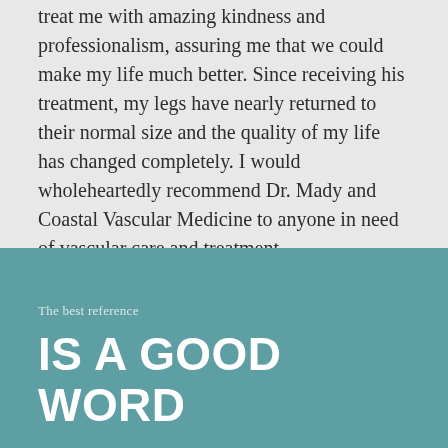treat me with amazing kindness and professionalism, assuring me that we could make my life much better. Since receiving his treatment, my legs have nearly returned to their normal size and the quality of my life has changed completely. I would wholeheartedly recommend Dr. Mady and Coastal Vascular Medicine to anyone in need of vascular care and treatment.
The best reference
IS A GOOD WORD